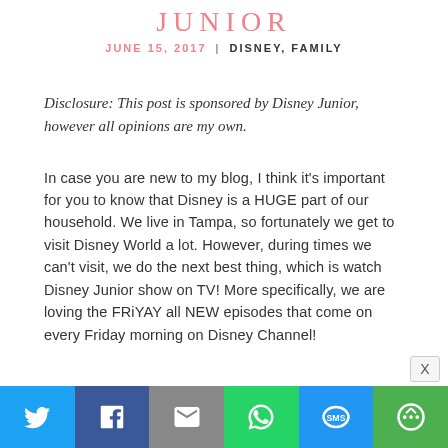JUNIOR
JUNE 15, 2017 | DISNEY, FAMILY
Disclosure: This post is sponsored by Disney Junior, however all opinions are my own.
In case you are new to my blog, I think it's important for you to know that Disney is a HUGE part of our household. We live in Tampa, so fortunately we get to visit Disney World a lot. However, during times we can't visit, we do the next best thing, which is watch Disney Junior show on TV! More specifically, we are loving the FRiYAY all NEW episodes that come on every Friday morning on Disney Channel!
[Figure (other): Social media share bar with Twitter, Facebook, Email, WhatsApp, SMS, and More buttons]